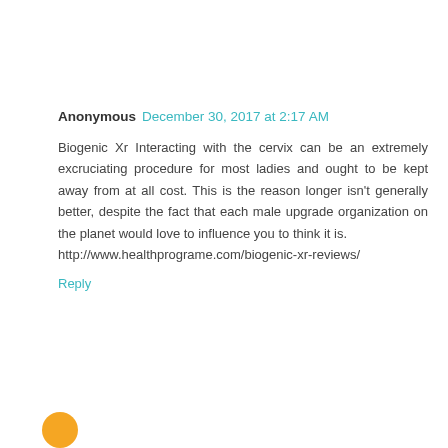Anonymous December 30, 2017 at 2:17 AM
Biogenic Xr Interacting with the cervix can be an extremely excruciating procedure for most ladies and ought to be kept away from at all cost. This is the reason longer isn't generally better, despite the fact that each male upgrade organization on the planet would love to influence you to think it is. http://www.healthprograme.com/biogenic-xr-reviews/
Reply